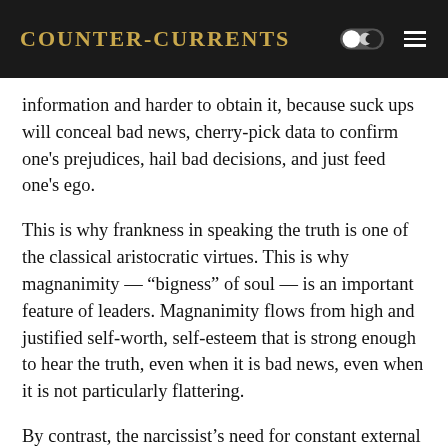Counter-Currents
information and harder to obtain it, because suck ups will conceal bad news, cherry-pick data to confirm one's prejudices, hail bad decisions, and just feed one's ego.
This is why frankness in speaking the truth is one of the classical aristocratic virtues. This is why magnanimity — “bigness” of soul — is an important feature of leaders. Magnanimity flows from high and justified self-worth, self-esteem that is strong enough to hear the truth, even when it is bad news, even when it is not particularly flattering.
By contrast, the narcissist’s need for constant external affirmation, is an aspect of the classical vice of “pusillanimity” or “pettiness of soul.” One sign that your boss is a narcissist is that he cannot bear to be corrected and punishes people for bringing him bad news.
One sign of magnanimity is the ability to lose gracefully